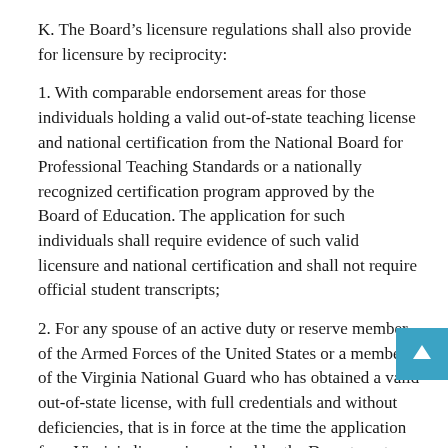K. The Board's licensure regulations shall also provide for licensure by reciprocity:
1. With comparable endorsement areas for those individuals holding a valid out-of-state teaching license and national certification from the National Board for Professional Teaching Standards or a nationally recognized certification program approved by the Board of Education. The application for such individuals shall require evidence of such valid licensure and national certification and shall not require official student transcripts;
2. For any spouse of an active duty or reserve member of the Armed Forces of the United States or a member of the Virginia National Guard who has obtained a valid out-of-state license, with full credentials and without deficiencies, that is in force at the time the application for a Virginia license is received by the Department. Each such individual shall establish a file in the Department